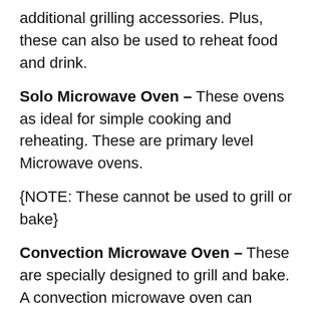additional grilling accessories. Plus, these can also be used to reheat food and drink.
Solo Microwave Oven – These ovens as ideal for simple cooking and reheating. These are primary level Microwave ovens.
{NOTE: These cannot be used to grill or bake}
Convection Microwave Oven – These are specially designed to grill and bake. A convection microwave oven can perform multiple tasks like a grill, roast, brown, bake, and crisp food.
Along with that, they perform all the tasks of a Solo Microwave Oven, like reheating and